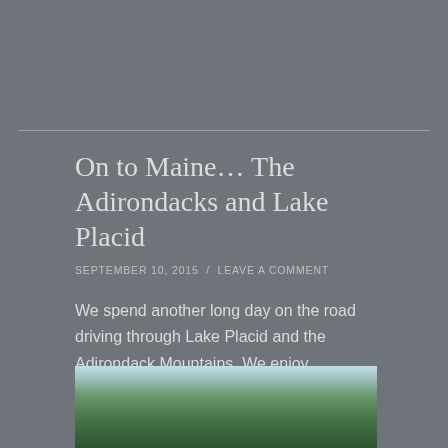On to Maine… The Adirondacks and Lake Placid
SEPTEMBER 10, 2015  /  LEAVE A COMMENT
We spend another long day on the road driving through Lake Placid and the Adirondack Mountains. We enjoy watching the scenery change and seeing remnants of the venues for the Winter Olympics. Pine trees begin to dot the landscape.
[Figure (photo): Photograph of pine trees and forest scenery, likely taken in the Adirondack region]